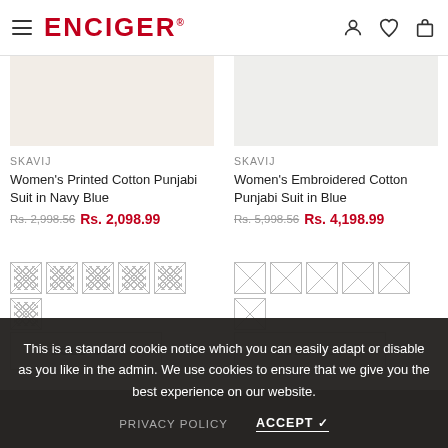ENCIGER
SKAVIJ
Women's Printed Cotton Punjabi Suit in Navy Blue
Rs. 2,998.56  Rs. 2,098.99
SKAVIJ
Women's Embroidered Cotton Punjabi Suit in Blue
Rs. 5,998.56  Rs. 4,198.99
SOLD OUT
SOLD OUT
This is a standard cookie notice which you can easily adapt or disable as you like in the admin. We use cookies to ensure that we give you the best experience on our website.
PRIVACY POLICY    ACCEPT ✓